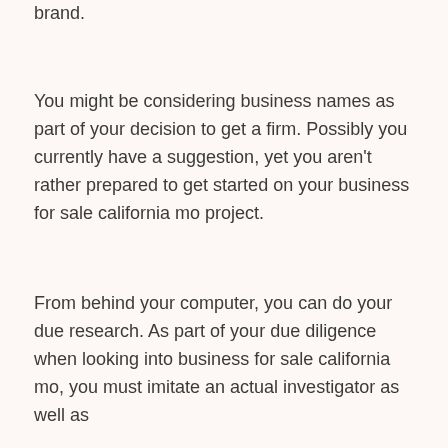brand.
You might be considering business names as part of your decision to get a firm. Possibly you currently have a suggestion, yet you aren't rather prepared to get started on your business for sale california mo project.
From behind your computer, you can do your due research. As part of your due diligence when looking into business for sale california mo, you must imitate an actual investigator as well as